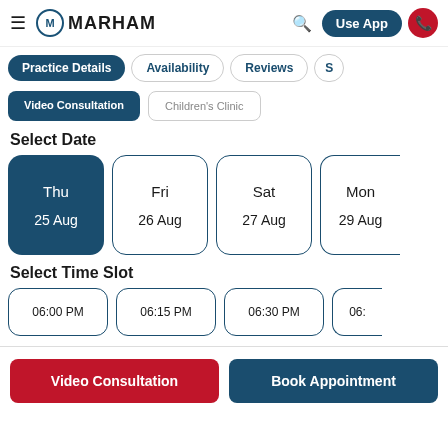Marham — Use App
Practice Details
Availability
Reviews
S
Video Consultation | Children's Clinic
Select Date
Thu 25 Aug | Fri 26 Aug | Sat 27 Aug | Mon 29 Aug
Select Time Slot
06:00 PM | 06:15 PM | 06:30 PM | 06:…
Video Consultation | Book Appointment